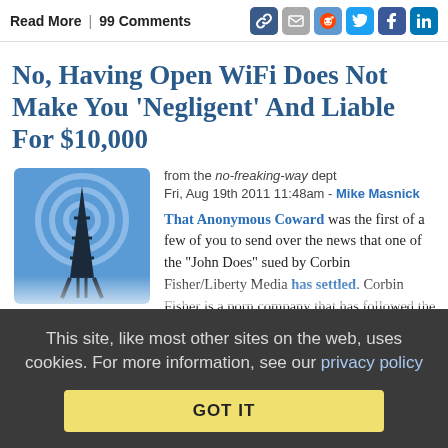Read More | 99 Comments
No, Having Open WiFi Does Not Make You 'Negligent' And Liable For $10,000
from the no-freaking-way dept
Fri, Aug 19th 2011 11:48am - Mike Masnick
[Figure (illustration): Blue square icon with radio/cell tower silhouette and signal waves. Caption: Wireless]
That Anonymous Coward was the first of a few of you to send over the news that one of the "John Does" sued by Corbin Fisher/Liberty Media has settled. Corbin Fisher is a porn company that has followed the footsteps of others down the mass infringement lawsuits path that many of us note feels a lot more like a shakedown process than a reasonable use of
This site, like most other sites on the web, uses cookies. For more information, see our privacy policy
GOT IT